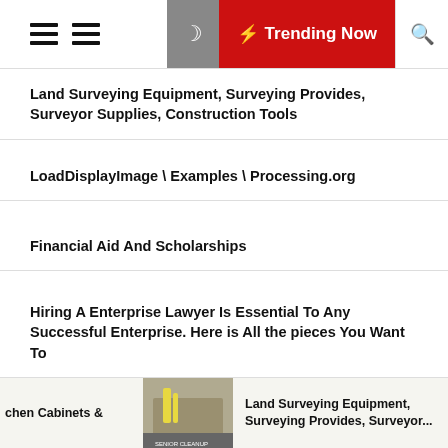Trending Now
Land Surveying Equipment, Surveying Provides, Surveyor Supplies, Construction Tools
LoadDisplayImage \ Examples \ Processing.org
Financial Aid And Scholarships
Hiring A Enterprise Lawyer Is Essential To Any Successful Enterprise. Here is All the pieces You Want To
Categories
Agricultural Equipment & Supplies
chen Cabinets &   Land Surveying Equipment, Surveying Provides, Surveyor...